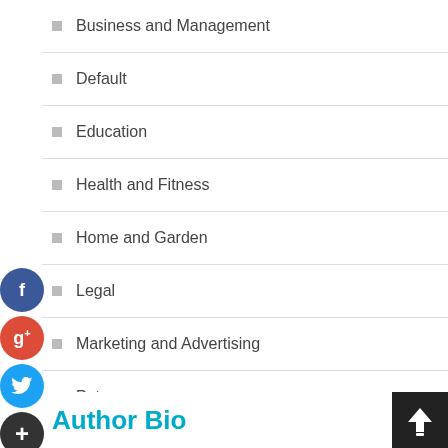Business and Management
Default
Education
Health and Fitness
Home and Garden
Legal
Marketing and Advertising
Pets
Technology and Gadgets
Travel and Leisure
Author Bio